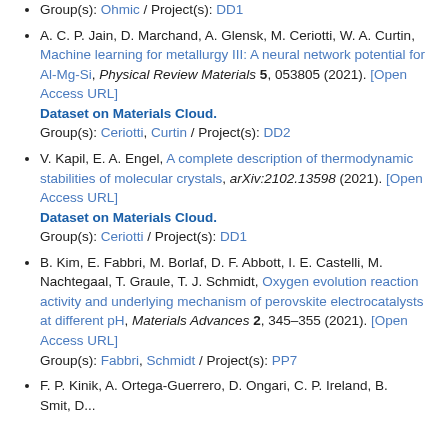A. C. P. Jain, D. Marchand, A. Glensk, M. Ceriotti, W. A. Curtin, Machine learning for metallurgy III: A neural network potential for Al-Mg-Si, Physical Review Materials 5, 053805 (2021). [Open Access URL] Dataset on Materials Cloud. Group(s): Ceriotti, Curtin / Project(s): DD2
V. Kapil, E. A. Engel, A complete description of thermodynamic stabilities of molecular crystals, arXiv:2102.13598 (2021). [Open Access URL] Dataset on Materials Cloud. Group(s): Ceriotti / Project(s): DD1
B. Kim, E. Fabbri, M. Borlaf, D. F. Abbott, I. E. Castelli, M. Nachtegaal, T. Graule, T. J. Schmidt, Oxygen evolution reaction activity and underlying mechanism of perovskite electrocatalysts at different pH, Materials Advances 2, 345–355 (2021). [Open Access URL] Group(s): Fabbri, Schmidt / Project(s): PP7
F. P. Kinik, A. Ortega-Guerrero, D. Ongari, C. P. Ireland, B. ...